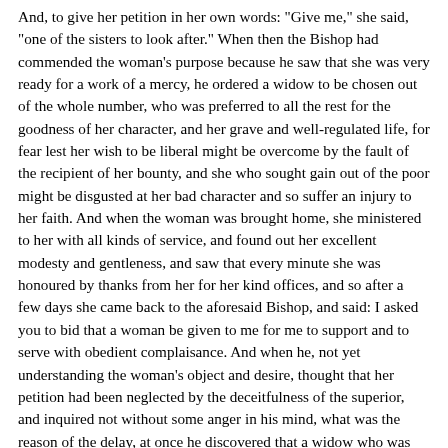And, to give her petition in her own words: "Give me," she said, "one of the sisters to look after." When then the Bishop had commended the woman's purpose because he saw that she was very ready for a work of a mercy, he ordered a widow to be chosen out of the whole number, who was preferred to all the rest for the goodness of her character, and her grave and well-regulated life, for fear lest her wish to be liberal might be overcome by the fault of the recipient of her bounty, and she who sought gain out of the poor might be disgusted at her bad character and so suffer an injury to her faith. And when the woman was brought home, she ministered to her with all kinds of service, and found out her excellent modesty and gentleness, and saw that every minute she was honoured by thanks from her for her kind offices, and so after a few days she came back to the aforesaid Bishop, and said: I asked you to bid that a woman be given to me for me to support and to serve with obedient complaisance. And when he, not yet understanding the woman's object and desire, thought that her petition had been neglected by the deceitfulness of the superior, and inquired not without some anger in his mind, what was the reason of the delay, at once he discovered that a widow who was better than all the rest had been assigned to her, and so he secretly gave orders that the one who was the worst of all should be given to her, the one, I mean, who surpassed in anger and quarrelling and wine-bibbing and talkativeness all who were under the power of these faults. And when she was only too easily found and given to